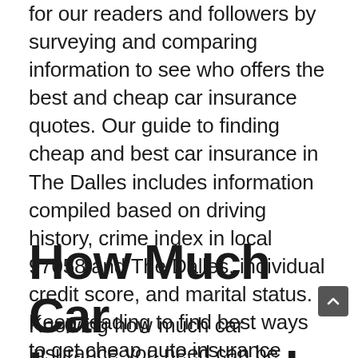for our readers and followers by surveying and comparing information to see who offers the best and cheap car insurance quotes. Our guide to finding cheap and best car insurance in The Dalles includes information compiled based on driving history, crime index in local 97058 and The Dalles, individual credit score, and marital status. Keep reading to find best ways to get cheap auto insurance quotes and learn more!
How Much Car Insurance do I Need in The Dalles?
Knowing how much car insurance you need can be tricky. Every state has a minimum